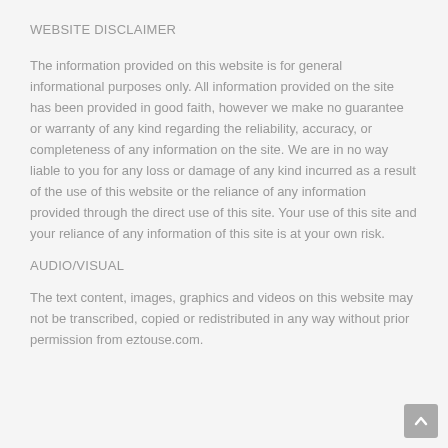WEBSITE DISCLAIMER
The information provided on this website is for general informational purposes only. All information provided on the site has been provided in good faith, however we make no guarantee or warranty of any kind regarding the reliability, accuracy, or completeness of any information on the site. We are in no way liable to you for any loss or damage of any kind incurred as a result of the use of this website or the reliance of any information provided through the direct use of this site. Your use of this site and your reliance of any information of this site is at your own risk.
AUDIO/VISUAL
The text content, images, graphics and videos on this website may not be transcribed, copied or redistributed in any way without prior permission from eztouse.com.